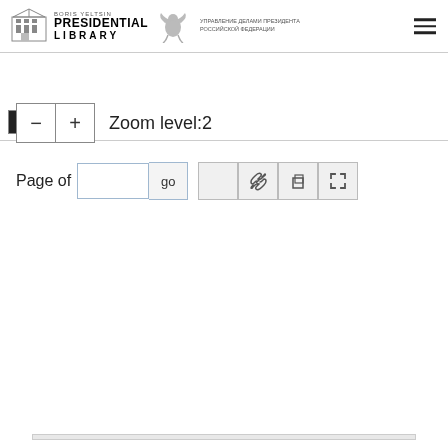[Figure (logo): Boris Yeltsin Presidential Library header with building icon, eagle emblem, and Russian text УПРАВЛЕНИЕ ДЕЛАМИ ПРЕЗИДЕНТА РОССИЙСКОЙ ФЕДЕРАЦИИ, plus hamburger menu icon]
[Figure (screenshot): Tab bar with two buttons partially visible]
Zoom level:2
Page of   go
[Figure (screenshot): Document viewer viewport area showing empty light gray content area]